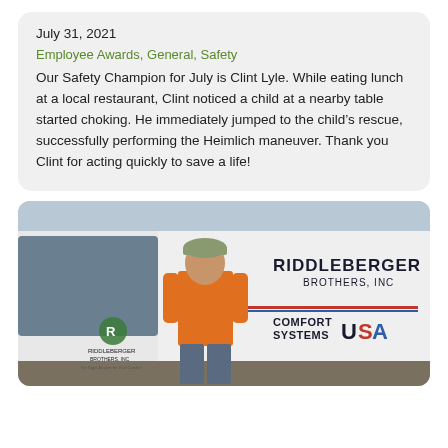July 31, 2021
Employee Awards, General, Safety
Our Safety Champion for July is Clint Lyle. While eating lunch at a local restaurant, Clint noticed a child at a nearby table started choking. He immediately jumped to the child's rescue, successfully performing the Heimlich maneuver. Thank you Clint for acting quickly to save a life!
[Figure (photo): Man in orange shirt standing in front of a Riddleberger Brothers, Inc. / Comfort Systems USA white van]